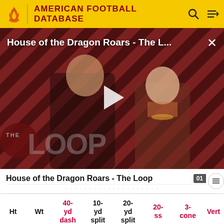AMERICAN FOOTBALL DATABASE
[Figure (screenshot): Video thumbnail showing two characters from House of the Dragon against a diagonal striped red/dark background, with THE LOOP branding overlay, a play button in the center, and an X close button in the top right. Title text reads: House of the Dragon Roars - The L...]
House of the Dragon Roars - The Loop
| Ht | Wt | 40-yd dash | 10-yd split | 20-yd split | 20-ss | 3-cone | Vert |
| --- | --- | --- | --- | --- | --- | --- | --- |